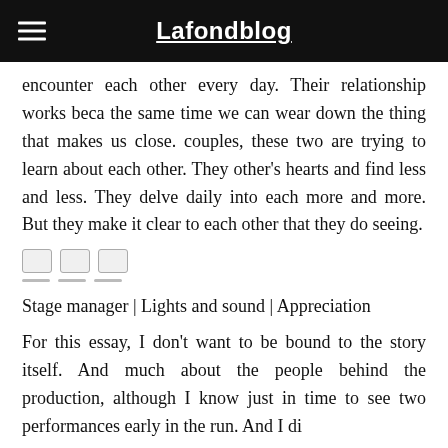Lafondblog
encounter each other every day. Their relationship works beca the same time we can wear down the thing that makes us close. couples, these two are trying to learn about each other. They other's hearts and find less and less. They delve daily into each more and more. But they make it clear to each other that they do seeing.
[Figure (other): Three small square share/social icons with lines below them]
Stage manager | Lights and sound | Appreciation
For this essay, I don't want to be bound to the story itself. And much about the people behind the production, although I know just in time to see two performances early in the run. And I di